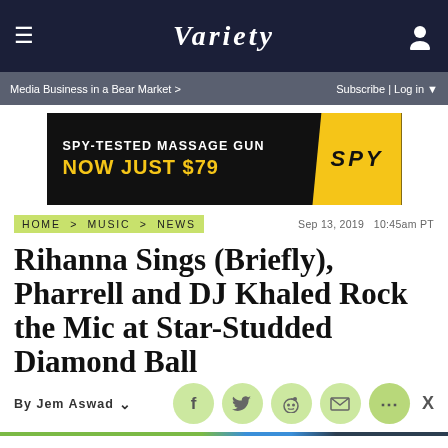VARIETY
Media Business in a Bear Market > | Subscribe | Log in
[Figure (photo): Advertisement banner: SPY-TESTED MASSAGE GUN NOW JUST $79 with SPY logo in yellow]
HOME > MUSIC > NEWS    Sep 13, 2019 10:45am PT
Rihanna Sings (Briefly), Pharrell and DJ Khaled Rock the Mic at Star-Studded Diamond Ball
By Jem Aswad